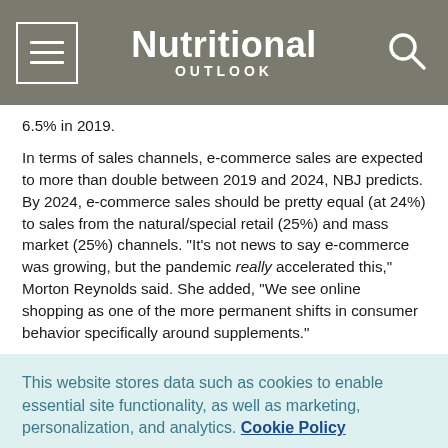Nutritional OUTLOOK
6.5% in 2019.
In terms of sales channels, e-commerce sales are expected to more than double between 2019 and 2024, NBJ predicts. By 2024, e-commerce sales should be pretty equal (at 24%) to sales from the natural/special retail (25%) and mass market (25%) channels. "It's not news to say e-commerce was growing, but the pandemic really accelerated this," Morton Reynolds said. She added, "We see online shopping as one of the more permanent shifts in consumer behavior specifically around supplements."
This website stores data such as cookies to enable essential site functionality, as well as marketing, personalization, and analytics. Cookie Policy
Accept
Deny